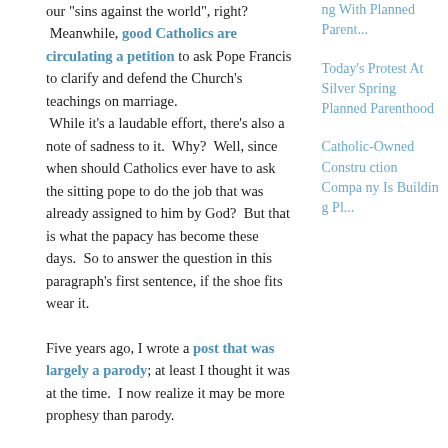our "sins against the world", right?
 Meanwhile, good Catholics are circulating a petition to ask Pope Francis to clarify and defend the Church's teachings on marriage.
 While it's a laudable effort, there's also a note of sadness to it.  Why?  Well, since when should Catholics ever have to ask the sitting pope to do the job that was already assigned to him by God?  But that is what the papacy has become these days.  So to answer the question in this paragraph's first sentence, if the shoe fits wear it.

Five years ago, I wrote a post that was largely a parody; at least I thought it was at the time.  I now realize it may be more prophesy than parody.
ng With Planned Parent...
Today's Protest At Silver Spring Planned Parenthood
Catholic-Owned Construction Company Is Building Pl...